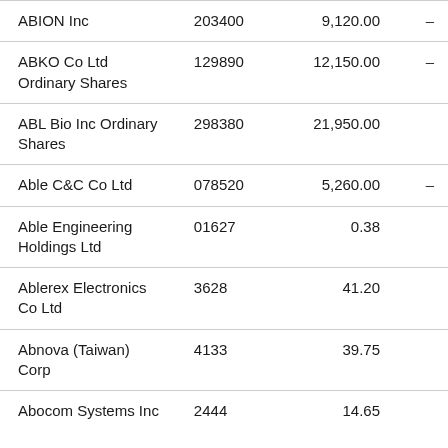|  |  |  |  |
| --- | --- | --- | --- |
| ABION Inc | 203400 | 9,120.00 | – |
| ABKO Co Ltd Ordinary Shares | 129890 | 12,150.00 | – |
| ABL Bio Inc Ordinary Shares | 298380 | 21,950.00 |  |
| Able C&C Co Ltd | 078520 | 5,260.00 | – |
| Able Engineering Holdings Ltd | 01627 | 0.38 |  |
| Ablerex Electronics Co Ltd | 3628 | 41.20 |  |
| Abnova (Taiwan) Corp | 4133 | 39.75 |  |
| Abocom Systems Inc | 2444 | 14.65 |  |